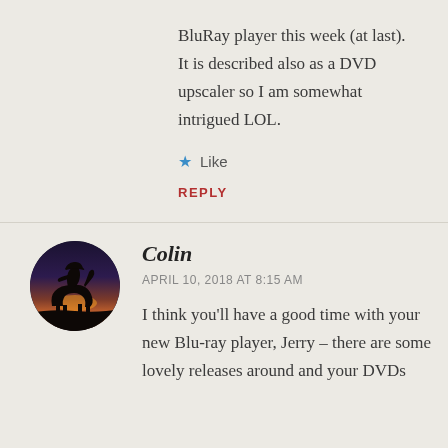BluRay player this week (at last). It is described also as a DVD upscaler so I am somewhat intrigued LOL.
★ Like
REPLY
[Figure (photo): Circular avatar image showing a silhouette of a person on horseback against a warm sunset sky]
Colin
APRIL 10, 2018 AT 8:15 AM
I think you'll have a good time with your new Blu-ray player, Jerry – there are some lovely releases around and your DVDs